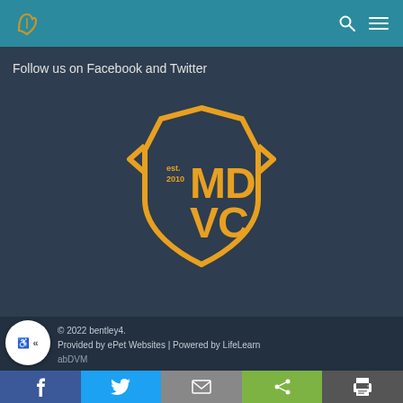MDVC logo and navigation with search and menu icons
Follow us on Facebook and Twitter
[Figure (logo): MDVC logo — yellow/orange veterinary clinic badge shape with text 'est. 2010 MD VC' on dark background]
© 2022 bentley4. Provided by ePet Websites | Powered by LifeLearn abDVM